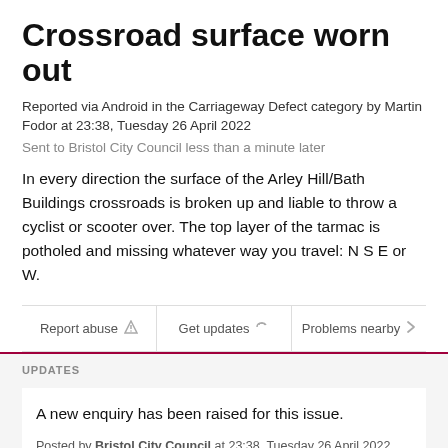Crossroad surface worn out
Reported via Android in the Carriageway Defect category by Martin Fodor at 23:38, Tuesday 26 April 2022
Sent to Bristol City Council less than a minute later
In every direction the surface of the Arley Hill/Bath Buildings crossroads is broken up and liable to throw a cyclist or scooter over. The top layer of the tarmac is potholed and missing whatever way you travel: N S E or W.
Report abuse
Get updates
Problems nearby
UPDATES
A new enquiry has been raised for this issue.
Posted by Bristol City Council at 23:38, Tuesday 26 April 2022